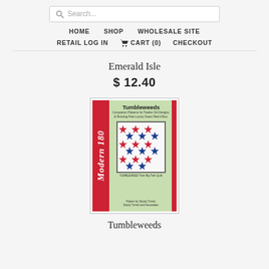Search... HOME SHOP WHOLESALE SITE RETAIL LOG IN CART (0) CHECKOUT
Emerald Isle
$ 12.40
[Figure (photo): Book cover of 'Tumbleweeds' by Sandy Turner, Modern 180 series, showing a quilt pattern with star designs in red, green, and blue on white background. Green cover with red spine.]
Tumbleweeds